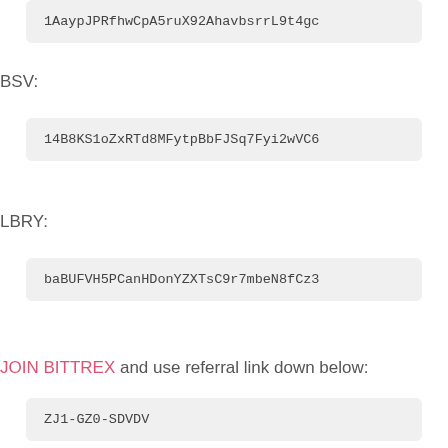1AaypJPRfhwCpA5ruX92AhavbsrrL9t4gc
BSV:
14B8KS1oZxRTd8MFytpBbFJSq7Fyi2wVC6
LBRY:
baBUFVH5PCanHDonYZXTsC9r7mbeN8fCz3
JOIN BITTREX and use referral link down below:
ZJ1-GZ0-SDVDV